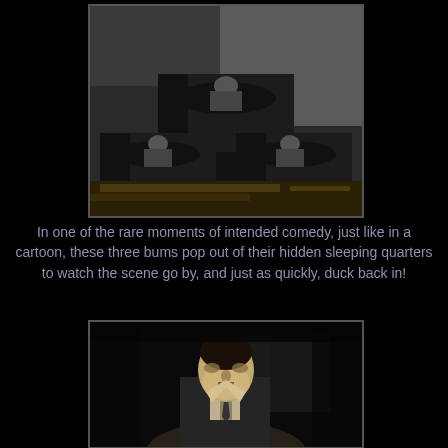[Figure (photo): Black and white photograph of three men peeking out of large industrial metal pipes/tubes stacked together outdoors.]
In one of the rare moments of intended comedy, just like in a cartoon, these three bums pop out of their hidden sleeping quarters to watch the scene go by, and just as quickly, duck back in!
[Figure (photo): Black and white photograph of a man in a suit and tie, lit dramatically from below, in a dark setting.]